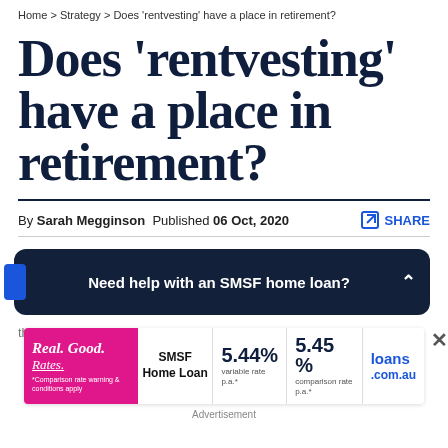Home > Strategy > Does 'rentvesting' have a place in retirement?
Does 'rentvesting' have a place in retirement?
By Sarah Megginson  Published 06 Oct, 2020
[Figure (infographic): Dark navy banner ad: Need help with an SMSF home loan? with a blue pill on left and chevron on right]
there are situations in which it can help investors who
[Figure (infographic): Advertisement banner: Real Good Rates. SMSF Home Loan 5.44% variable rate p.a.* | 5.45% comparison rate p.a.* loans.com.au. *Comparison rate warning & conditions apply. Close button.]